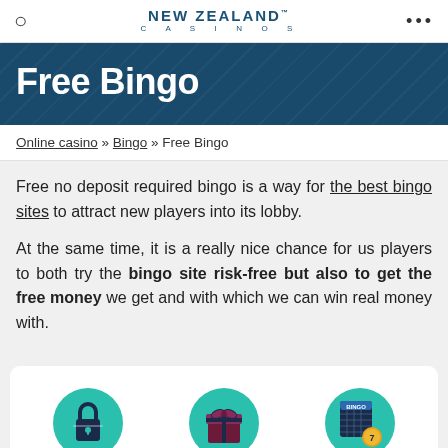NEW ZEALAND CASINOS
Free Bingo
Online casino » Bingo » Free Bingo
Free no deposit required bingo is a way for the best bingo sites to attract new players into its lobby.
At the same time, it is a really nice chance for us players to both try the bingo site risk-free but also to get the free money we get and with which we can win real money with.
[Figure (illustration): Three teal circular icons: a lock/registration icon, a gift box icon, and a bingo card with coin icon]